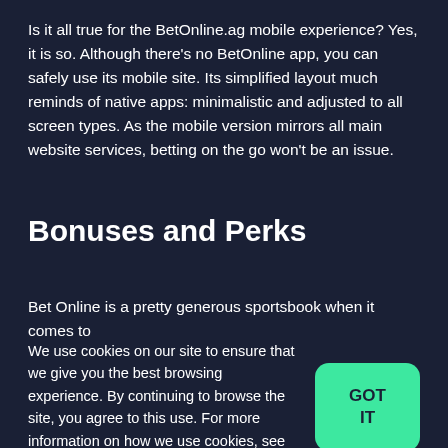Is it all true for the BetOnline.ag mobile experience? Yes, it is so. Although there's no BetOnline app, you can safely use its mobile site. Its simplified layout much reminds of native apps: minimalistic and adjusted to all screen types. As the mobile version mirrors all main website services, betting on the go won't be an issue.
Bonuses and Perks
Bet Online is a pretty generous sportsbook when it comes to
We use cookies on our site to ensure that we give you the best browsing experience. By continuing to browse the site, you agree to this use. For more information on how we use cookies, see our Cookie Policy and Privacy Policy.